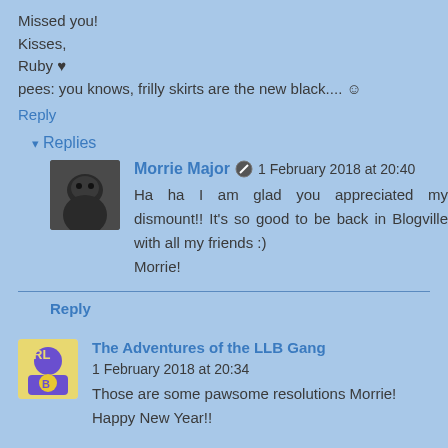Missed you!
Kisses,
Ruby ♥
pees: you knows, frilly skirts are the new black.... ☺
Reply
▾ Replies
Morrie Major ✏ 1 February 2018 at 20:40
Ha ha I am glad you appreciated my dismount!! It's so good to be back in Blogville with all my friends :)
Morrie!
Reply
The Adventures of the LLB Gang 1 February 2018 at 20:34
Those are some pawsome resolutions Morrie!
Happy New Year!!